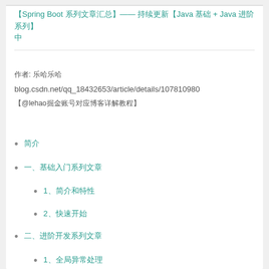【Spring Boot 系列文章汇总】—— 持续更新中【Java 基础 + Java 进阶系列】
作者: 乐哈乐哈
blog.csdn.net/qq_18432653/article/details/107810980
【@lehao掘金账号对应博客详解教程】
简介
一、基础入门系列文章
1、简介和特性
2、快速开始
二、进阶开发系列文章
1、全局异常处理
2、集成Swagger接口